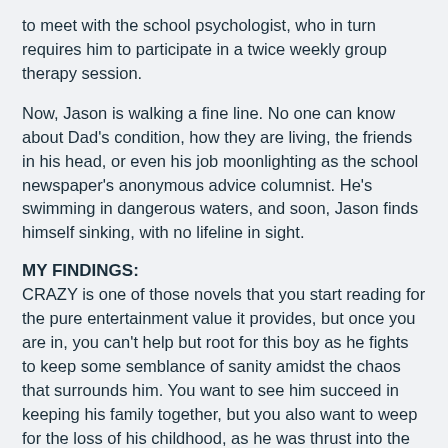to meet with the school psychologist, who in turn requires him to participate in a twice weekly group therapy session.
Now, Jason is walking a fine line. No one can know about Dad's condition, how they are living, the friends in his head, or even his job moonlighting as the school newspaper's anonymous advice columnist. He's swimming in dangerous waters, and soon, Jason finds himself sinking, with no lifeline in sight.
MY FINDINGS:
CRAZY is one of those novels that you start reading for the pure entertainment value it provides, but once you are in, you can't help but root for this boy as he fights to keep some semblance of sanity amidst the chaos that surrounds him. You want to see him succeed in keeping his family together, but you also want to weep for the loss of his childhood, as he was thrust into the role of the parent when he should have been the child, young and foolish.
The cast of characters in Jason's head keep you constantly on the verge of laughter or tears… sometimes both. The